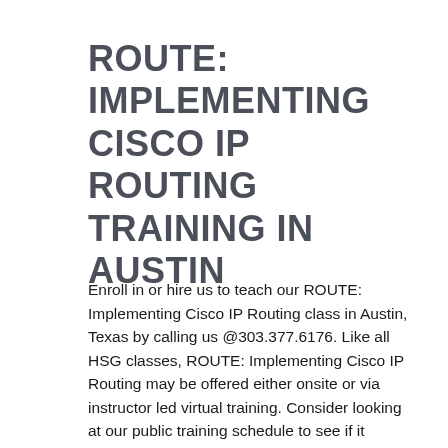ROUTE: IMPLEMENTING CISCO IP ROUTING TRAINING IN AUSTIN
Enroll in or hire us to teach our ROUTE: Implementing Cisco IP Routing class in Austin, Texas by calling us @303.377.6176. Like all HSG classes, ROUTE: Implementing Cisco IP Routing may be offered either onsite or via instructor led virtual training. Consider looking at our public training schedule to see if it